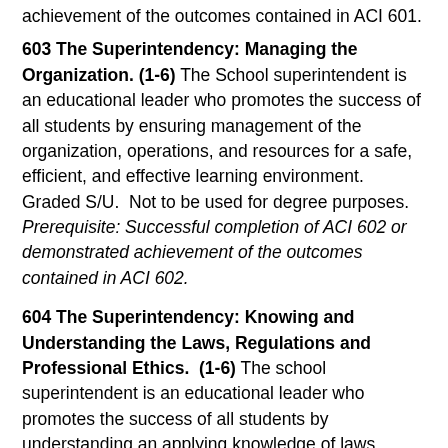achievement of the outcomes contained in ACI 601.
603 The Superintendency: Managing the Organization. (1-6) The School superintendent is an educational leader who promotes the success of all students by ensuring management of the organization, operations, and resources for a safe, efficient, and effective learning environment. Graded S/U. Not to be used for degree purposes. Prerequisite: Successful completion of ACI 602 or demonstrated achievement of the outcomes contained in ACI 602.
604 The Superintendency: Knowing and Understanding the Laws, Regulations and Professional Ethics. (1-6) The school superintendent is an educational leader who promotes the success of all students by understanding an applying knowledge of laws, regulations, and professional ethics related to schools and children. Graded S/U. Not to be used for degree purposes. Prerequisite: Successful completion of ACI 603 or